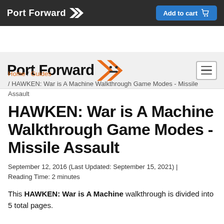Port Forward | Add to cart
[Figure (logo): Port Forward logo with double chevron arrow in white on dark background, plus Add to cart button in blue]
[Figure (logo): Port Forward logo with orange chevron arrow on light gray navigation bar]
Home / Guides / HAWKEN: War is A Machine Walkthrough Game Modes - Missile Assault
HAWKEN: War is A Machine Walkthrough Game Modes - Missile Assault
September 12, 2016 (Last Updated: September 15, 2021) | Reading Time: 2 minutes
This HAWKEN: War is A Machine walkthrough is divided into 5 total pages.